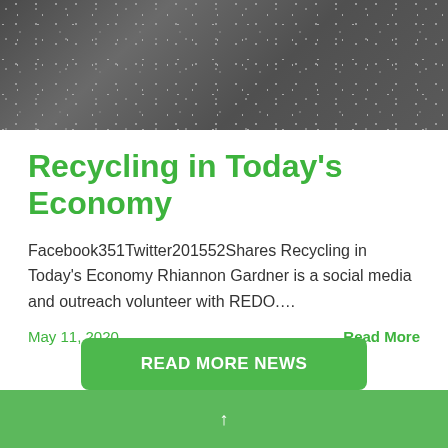[Figure (photo): Dark textured surface photograph, closeup of dark gravel or asphalt material]
Recycling in Today's Economy
Facebook351Twitter201552Shares Recycling in Today's Economy Rhiannon Gardner is a social media and outreach volunteer with REDO....
May 11, 2020    Read More
READ MORE NEWS